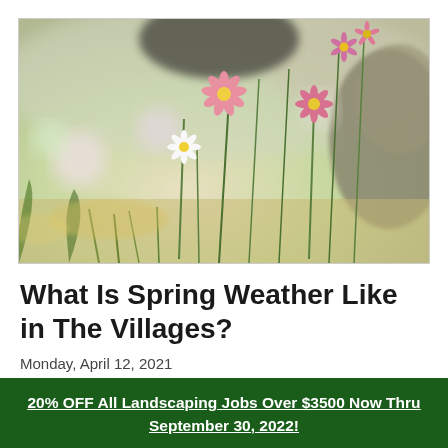[Figure (photo): Close-up photograph of small pink and white wildflowers (daisies) with green stems and grass, blurred rocky background, shallow depth of field, spring garden scene]
What Is Spring Weather Like in The Villages?
Monday, April 12, 2021
20% OFF All Landscaping Jobs Over $3500 Now Thru September 30, 2022!